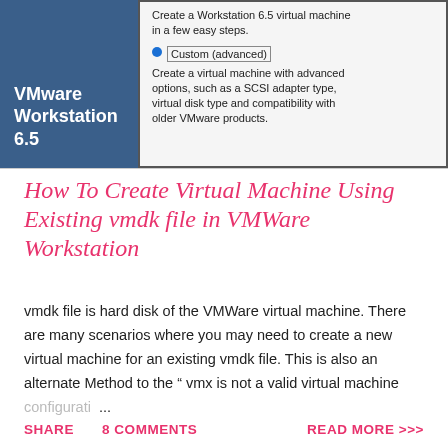[Figure (screenshot): VMware Workstation 6.5 virtual machine creation wizard screenshot showing the Custom (advanced) option selected with description text. Left panel is dark blue with white text 'VMware Workstation 6.5'.]
How To Create Virtual Machine Using Existing vmdk file in VMWare Workstation
vmdk file is hard disk of the VMWare virtual machine. There are many scenarios where you may need to create a new virtual machine for an existing vmdk file. This is also an alternate Method to the " vmx is not a valid virtual machine configurati ...
SHARE   8 COMMENTS   READ MORE >>>